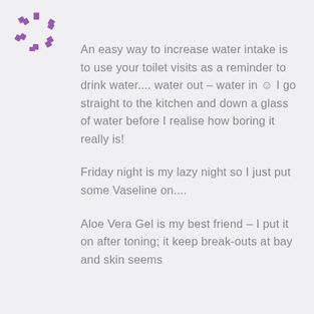[Figure (logo): Purple decorative circular logo made of small diamond/square shapes arranged in a ring pattern]
An easy way to increase water intake is to use your toilet visits as a reminder to drink water.... water out – water in ☺ I go straight to the kitchen and down a glass of water before I realise how boring it really is!
Friday night is my lazy night so I just put some Vaseline on....
Aloe Vera Gel is my best friend – I put it on after toning; it keep break-outs at bay and skin seems